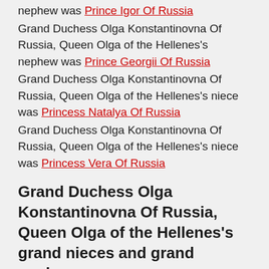nephew was Prince Igor Of Russia
Grand Duchess Olga Konstantinovna Of Russia, Queen Olga of the Hellenes's nephew was Prince Georgii Of Russia
Grand Duchess Olga Konstantinovna Of Russia, Queen Olga of the Hellenes's niece was Princess Natalya Of Russia
Grand Duchess Olga Konstantinovna Of Russia, Queen Olga of the Hellenes's niece was Princess Vera Of Russia
Grand Duchess Olga Konstantinovna Of Russia, Queen Olga of the Hellenes's grand nieces and grand nephews: